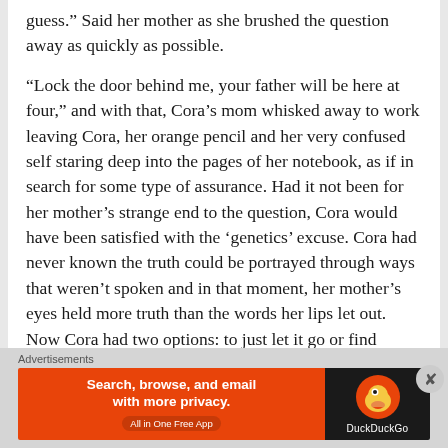guess.” Said her mother as she brushed the question away as quickly as possible.
“Lock the door behind me, your father will be here at four,” and with that, Cora’s mom whisked away to work leaving Cora, her orange pencil and her very confused self staring deep into the pages of her notebook, as if in search for some type of assurance. Had it not been for her mother’s strange end to the question, Cora would have been satisfied with the ‘genetics’ excuse. Cora had never known the truth could be portrayed through ways that weren’t spoken and in that moment, her mother’s eyes held more truth than the words her lips let out. Now Cora had two options: to just let it go or find
Advertisements
[Figure (other): DuckDuckGo advertisement banner: orange left side with text 'Search, browse, and email with more privacy. All in One Free App' and dark right side with DuckDuckGo logo and brand name.]